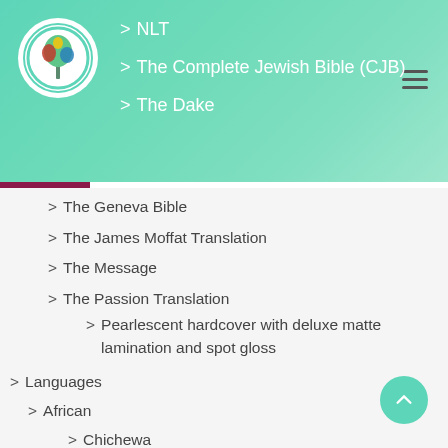NLT | The Complete Jewish Bible (CJB) | The Dake
> The Geneva Bible
> The James Moffat Translation
> The Message
> The Passion Translation
> Pearlescent hardcover with deluxe matte lamination and spot gloss
> Languages
> African
> Chichewa
> Ndebele Bibles
> Sepedi (Bibele)